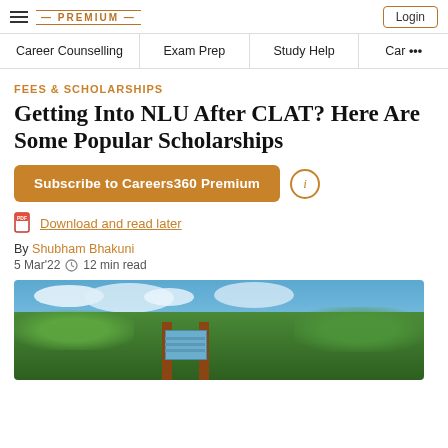— PREMIUM — Login
Career Counselling | Exam Prep | Study Help | Car ...
FEES & SCHOLARSHIPS
Getting Into NLU After CLAT? Here Are Some Popular Scholarships
Subscribe to Careers360 Premium
Download and read later
By Shubham Bhakuni
5 Mar'22  12 min read
[Figure (photo): Outdoor photo of an NLU campus entrance gate with red/brown pillars, blue sign board, trees and sky in background]